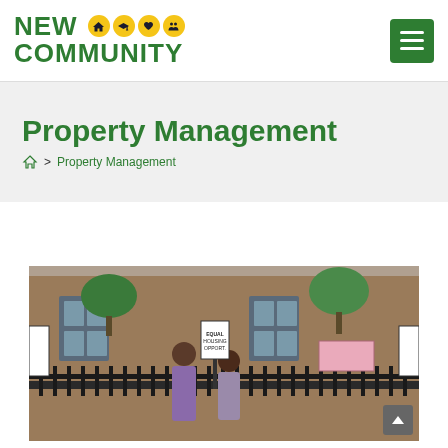New Community logo with hamburger menu
Property Management
Home > Property Management
[Figure (photo): Two women standing in front of a brick building with iron fence, holding a sign. Trees visible in background.]